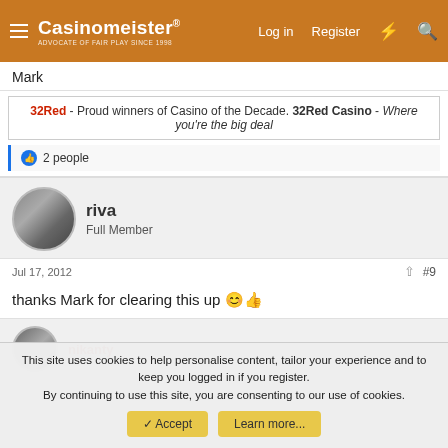Casinomeister - Log in  Register
Mark
32Red - Proud winners of Casino of the Decade. 32Red Casino - Where you're the big deal
2 people
riva
Full Member
Jul 17, 2012  #9
thanks Mark for clearing this up
nikanty
This site uses cookies to help personalise content, tailor your experience and to keep you logged in if you register.
By continuing to use this site, you are consenting to our use of cookies.